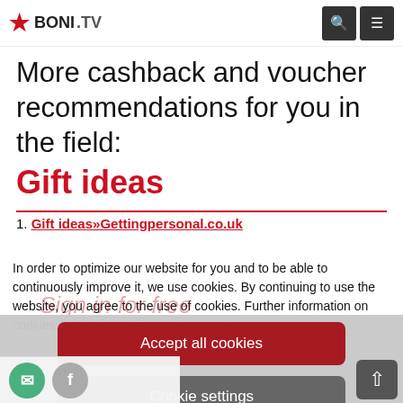BONI.TV
More cashback and voucher recommendations for you in the field:
Gift ideas
Gift ideas»Gettingpersonal.co.uk
In order to optimize our website for you and to be able to continuously improve it, we use cookies. By continuing to use the website, you agree to the use of cookies. Further information on cookies can be found in our privacy policy.
Sign in for free
Accept all cookies
Cookie settings
Confirm necessary cookies